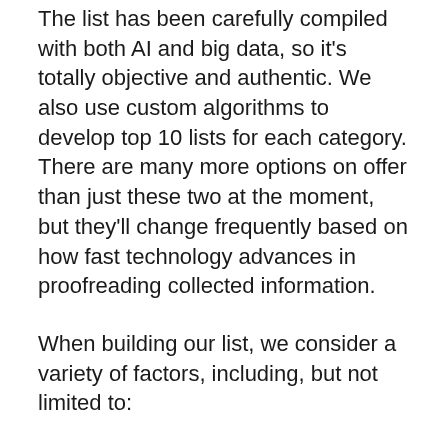The list has been carefully compiled with both AI and big data, so it's totally objective and authentic. We also use custom algorithms to develop top 10 lists for each category. There are many more options on offer than just these two at the moment, but they'll change frequently based on how fast technology advances in proofreading collected information.
When building our list, we consider a variety of factors, including, but not limited to:
We have proprietary data that identifies what content users want and need.
– User behavior analytics gives us insight into how users interact with each platform